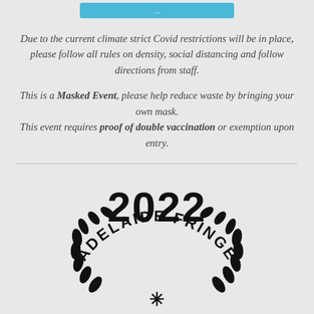[Figure (other): Blue bar/button at top (truncated)]
Due to the current climate strict Covid restrictions will be in place, please follow all rules on density, social distancing and follow directions from staff.
This is a Masked Event, please help reduce waste by bringing your own mask.
This event requires proof of double vaccination or exemption upon entry.
[Figure (logo): 2022 Adelaide Fringe logo with laurel wreath and asterisk emblem]